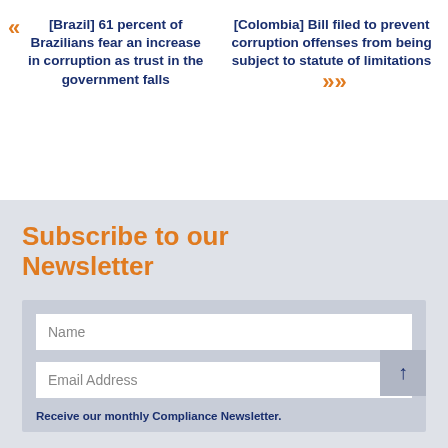[Brazil] 61 percent of Brazilians fear an increase in corruption as trust in the government falls
[Colombia] Bill filed to prevent corruption offenses from being subject to statute of limitations
Subscribe to our Newsletter
Name
Email Address
Receive our monthly Compliance Newsletter.